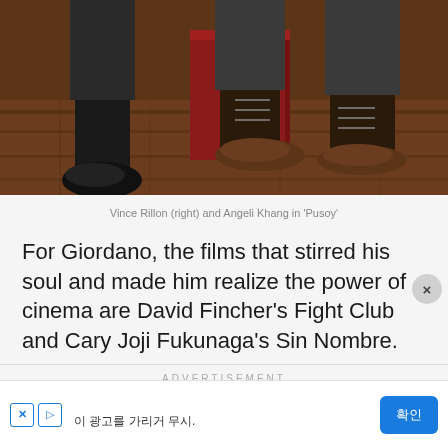[Figure (photo): Photo showing the lower legs and feet of two people sitting or standing near a red prop/box on a wooden floor. One person wears tall black boots, the other wears brown leather shoes and dark jeans.]
Vince Rillon (right) and Angeli Khang in 'Pusoy'
For Giordano, the films that stirred his soul and made him realize the power of cinema are David Fincher's Fight Club and Cary Joji Fukunaga's Sin Nombre.
ADVERTISEMENT